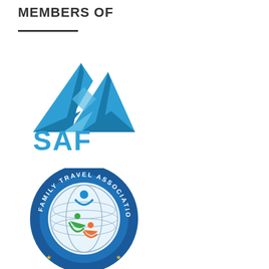MEMBERS OF
[Figure (logo): SAF logo - mountain/peaks icon in blue with 'SAF' text below in bold blue]
[Figure (logo): Family Travel Association circular badge logo with globe, stylized family figures in blue/green/orange, and text 'FAMILY TRAVEL ASSOCIATION' around the border with gold stars]